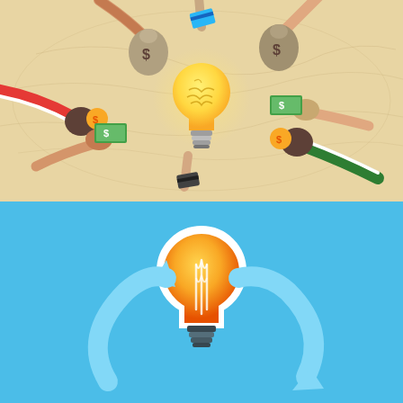[Figure (illustration): Crowdfunding concept illustration on a beige/tan background with a world map texture. A glowing yellow light bulb with a brain inside is centered, surrounded by diverse hands from different directions offering money bags with dollar signs, dollar bills, coins, and credit cards, representing multiple funders contributing to a central idea.]
[Figure (illustration): Blue background with an orange light bulb icon in the center. Two light blue curved arrows surround the bulb — one pointing up-right toward it from the lower-left, and one pointing down-right away from it toward the lower-right — suggesting a cyclical or recycling flow of ideas/funding.]